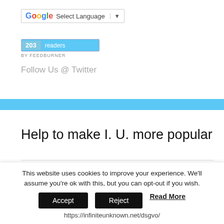[Figure (screenshot): Google Translate widget with 'Select Language' dropdown]
[Figure (screenshot): FeedBurner badge showing 203 readers]
Follow Us @ Twitter
Help to make I. U. more popular
[Figure (infographic): Social sharing icons: Facebook, Twitter, Email, Pinterest, and a plus/share button]
This website uses cookies to improve your experience. We'll assume you're ok with this, but you can opt-out if you wish.
Accept  Reject  Read More
https://infiniteunknown.net/dsgvo/